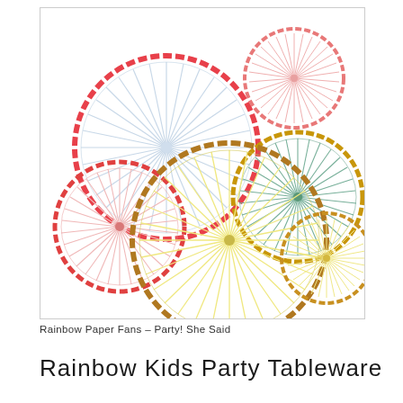[Figure (photo): Six colorful paper fan rosettes arranged on a white background. They come in various sizes and colors: a large blue fan with red scalloped edge (top left), a small pink/coral fan (top right), a medium pink fan with red edge (middle left), a medium teal/mint fan with gold edge (middle right), a large yellow fan with gold edge (center bottom), and a small yellow fan (bottom right).]
Rainbow Paper Fans – Party! She Said
Rainbow Kids Party Tableware